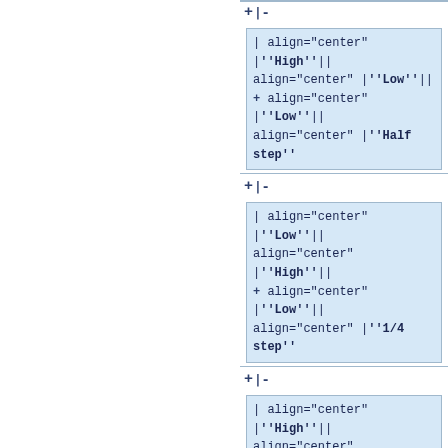+|-
| align="center" |""High""|| align="center" |""Low""|| + align="center" |""Low""|| align="center" |""Half step""
+|-
| align="center" |""Low""|| align="center" |""High""|| + align="center" |""Low""|| align="center" |""1/4 step""
+|-
| align="center" |""High""|| align="center" |""High""|| + align="center" |""Low""|| align="center" |""1/8 step""
+|-
| align="center" |""Low""|| align="center" |""Low""|| + align="center" |""High""||